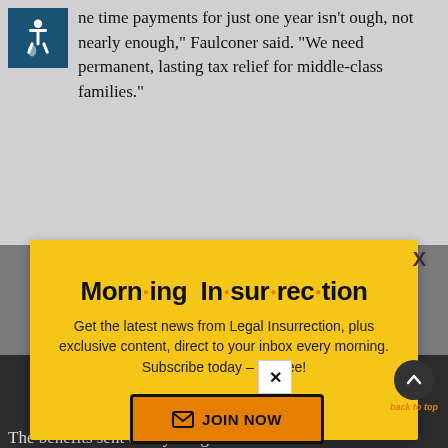[Figure (logo): Wheelchair accessibility icon in a dark blue square]
ne time payments for just one year isn't ough, not nearly enough," Faulconer said. "We need permanent, lasting tax relief for middle-class families."
[Figure (infographic): Morning Insurrection newsletter signup modal overlay with yellow background, close X button, title 'Morn·ing In·sur·rec·tion', body text, and JOIN NOW button]
neck," Cox said at a campaign event in Los Angeles.
The benefits sent out by the government to